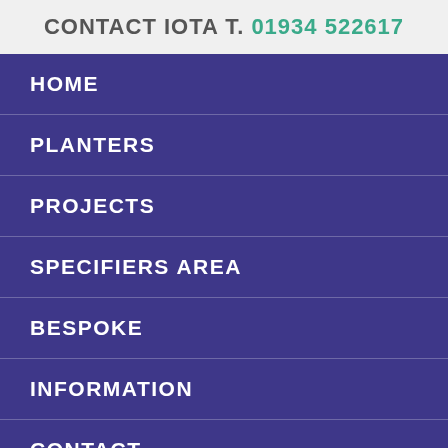CONTACT IOTA T. 01934 522617
HOME
PLANTERS
PROJECTS
SPECIFIERS AREA
BESPOKE
INFORMATION
CONTACT
© 2022 IOTA
PRIVACY & SECURITY
SITEMAP
TERMS & CONDITIONS